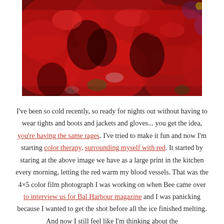[Figure (photo): Close-up photograph of deep red flowers (possibly poppies or roses), vivid red petals with hints of green, white, and purple, with a glossy wet appearance.]
I've been so cold recently, so ready for nights out without having to wear tights and boots and jackets and gloves... you get the idea, you're having the same rages. I've tried to make it fun and now I'm starting color therapy, surrounding myself with red. It started by staring at the above image we have as a large print in the kitchen every morning, letting the red warm my blood vessels. That was the 4×5 color film photograph I was working on when Bee came over to interview us for Bal Harbour magazine and I was panicking because I wanted to get the shot before all the ice finished melting. And now I still feel like I'm thinking about the